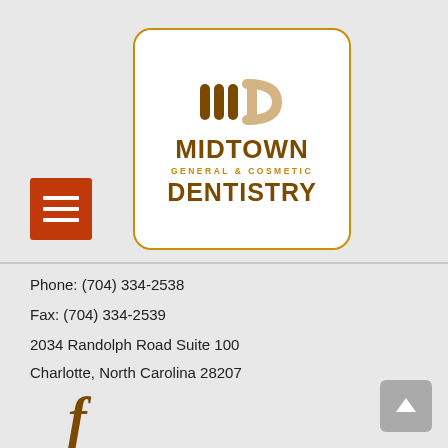[Figure (logo): Midtown General & Cosmetic Dentistry logo in a rounded white box with brown border. Contains stylized 'MD' icon and text 'MIDTOWN GENERAL & COSMETIC DENTISTRY']
Phone: (704) 334-2538
Fax: (704) 334-2539
2034 Randolph Road Suite 100
Charlotte, North Carolina 28207
[Figure (logo): Facebook 'f' icon in brown color]
[Figure (other): Back to top arrow button (grey square with upward arrow)]